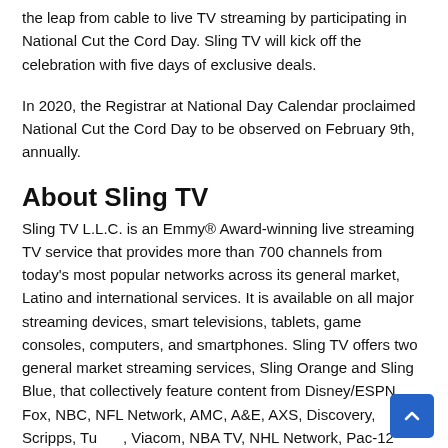the leap from cable to live TV streaming by participating in National Cut the Cord Day. Sling TV will kick off the celebration with five days of exclusive deals.
In 2020, the Registrar at National Day Calendar proclaimed National Cut the Cord Day to be observed on February 9th, annually.
About Sling TV
Sling TV L.L.C. is an Emmy® Award-winning live streaming TV service that provides more than 700 channels from today's most popular networks across its general market, Latino and international services. It is available on all major streaming devices, smart televisions, tablets, game consoles, computers, and smartphones. Sling TV offers two general market streaming services, Sling Orange and Sling Blue, that collectively feature content from Disney/ESPN, Fox, NBC, NFL Network, AMC, A&E, AXS, Discovery, Scripps, Tu[rner], Viacom, NBA TV, NHL Network, Pac-12 Networks, GSN, Hallmark,